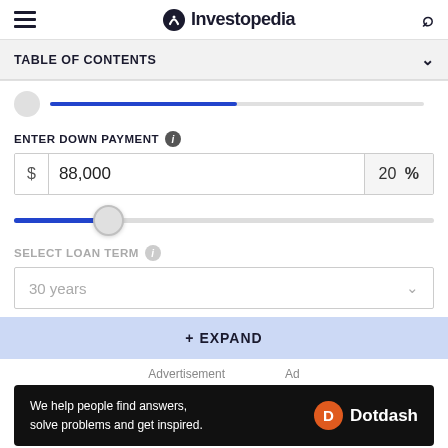Investopedia
TABLE OF CONTENTS
ENTER DOWN PAYMENT
$ 88,000  20 %
SELECT LOAN TERM
30 years
+ EXPAND
Advertisement
We help people find answers, solve problems and get inspired. Dotdash